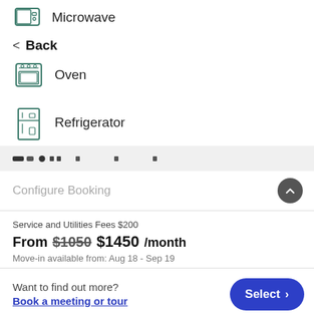[Figure (illustration): Microwave icon (teal/green outlined icon of a microwave oven)]
Microwave
< Back
[Figure (illustration): Oven icon (teal/green outlined icon of an oven)]
Oven
[Figure (illustration): Refrigerator icon (teal/green outlined icon of a refrigerator)]
Refrigerator
[Figure (other): Pagination dots row showing various dot/dash indicators]
Configure Booking
Service and Utilities Fees $200
From $1050 $1450/month
Move-in available from: Aug 18 - Sep 19
Want to find out more?
Book a meeting or tour
Select